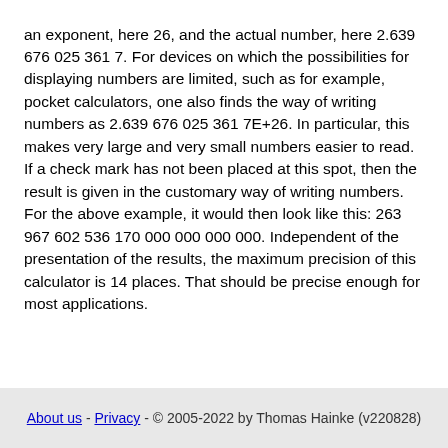an exponent, here 26, and the actual number, here 2.639 676 025 361 7. For devices on which the possibilities for displaying numbers are limited, such as for example, pocket calculators, one also finds the way of writing numbers as 2.639 676 025 361 7E+26. In particular, this makes very large and very small numbers easier to read. If a check mark has not been placed at this spot, then the result is given in the customary way of writing numbers. For the above example, it would then look like this: 263 967 602 536 170 000 000 000 000. Independent of the presentation of the results, the maximum precision of this calculator is 14 places. That should be precise enough for most applications.
About us - Privacy - © 2005-2022 by Thomas Hainke (v220828)